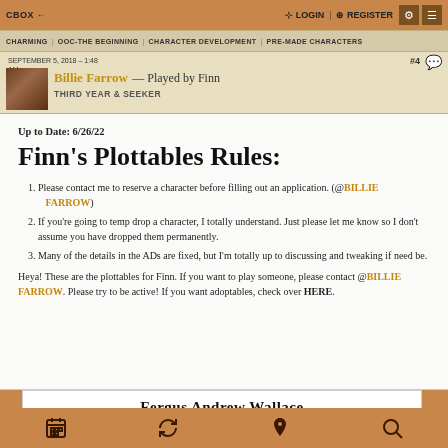CBOX ← | LOGIN | REGISTER
CHARMING | OOC-THE BEGINNING | CHARACTER DEVELOPMENT | PRE-MADE CHARACTERS
SEPTEMBER 5, 2018 – 1:48 AM
Billie Farrow — Played by Finn
THIRD YEAR & SEEKER
Up to Date: 6/26/22
Finn's Plottables Rules:
Please contact me to reserve a character before filling out an application. (@BILLIE FARROW)
If you're going to temp drop a character, I totally understand. Just please let me know so I don't assume you have dropped them permanently.
Many of the details in the ADs are fixed, but I'm totally up to discussing and tweaking if need be.
Heya!  These are the plottables for Finn.  If you want to play someone, please contact @BILLIE FARROW.  Please try to be active!   If you want adoptables, check over HERE.
Fergus Andrew Wallace
[Figure (photo): Partial view of a person with reddish/auburn hair outdoors with dark background foliage]
Calendar | Refresh | Pin | Search icons